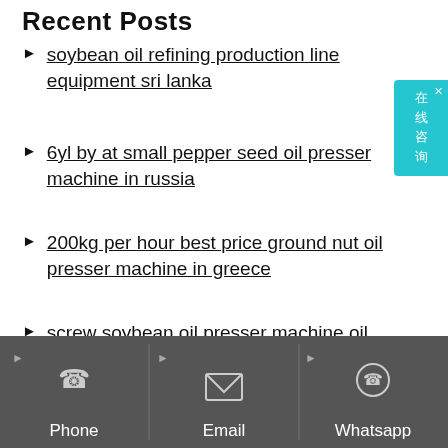Recent Posts
soybean oil refining production line equipment sri lanka
6yl by at small pepper seed oil presser machine in russia
200kg per hour best price ground nut oil presser machine in greece
screw soybean oil presser machine oil production line in pakistan
machinery linseed oil press machine
[Figure (infographic): Dark grey footer bar with three columns: Phone (phone handset icon), Email (envelope icon), Whatsapp (WhatsApp logo icon), each with label below the icon. Small rightward arrows at top-left of each column.]